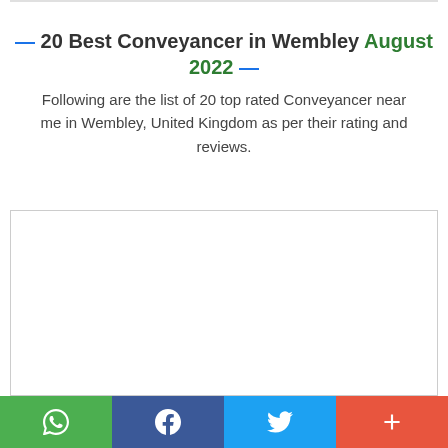— 20 Best Conveyancer in Wembley August 2022 —
Following are the list of 20 top rated Conveyancer near me in Wembley, United Kingdom as per their rating and reviews.
[Figure (other): Empty white content box with border, likely an advertisement or map placeholder]
Social share buttons: WhatsApp, Facebook, Twitter, Plus